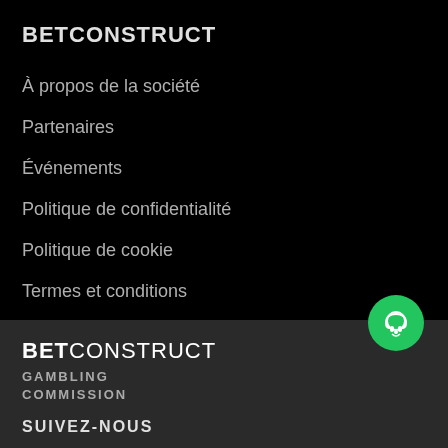BETCONSTRUCT
À propos de la société
Partenaires
Événements
Politique de confidentialité
Politique de cookie
Termes et conditions
[Figure (illustration): Green circular customer support / headset icon button]
BET CONSTRUCT GAMBLING COMMISSION
SUIVEZ-NOUS